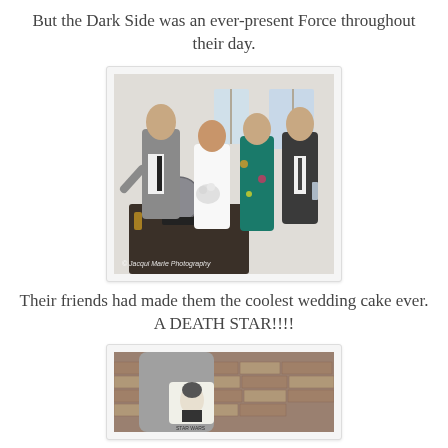But the Dark Side was an ever-present Force throughout their day.
[Figure (photo): Group photo of four people — a groom in grey suit and waistcoat pointing at a Death Star cake, a bride in white holding flowers, a woman in floral teal dress, and a man in dark suit — at a wedding reception. Watermark: © Jacqui Marie Photography]
Their friends had made them the coolest wedding cake ever. A DEATH STAR!!!!
[Figure (photo): Close-up photo of a person holding Star Wars themed socks, with a brick wall in the background.]